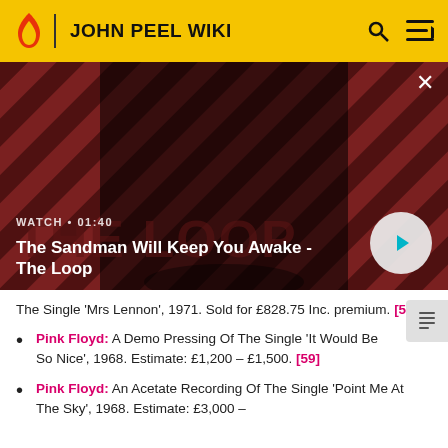JOHN PEEL WIKI
[Figure (screenshot): Video thumbnail showing a dark-cloaked figure with a raven on their shoulder against a red and black diagonal stripe background. Text overlay: WATCH • 01:40 / The Sandman Will Keep You Awake - The Loop]
The Single 'Mrs Lennon', 1971. Sold for £828.75 Inc. premium. [58]
Pink Floyd: A Demo Pressing Of The Single 'It Would Be So Nice', 1968. Estimate: £1,200 – £1,500. [59]
Pink Floyd: An Acetate Recording Of The Single 'Point Me At The Sky', 1968. Estimate: £3,000 –